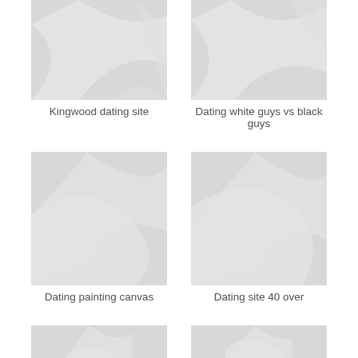[Figure (photo): Placeholder image with diagonal swoosh pattern]
Kingwood dating site
[Figure (photo): Placeholder image with diagonal swoosh pattern]
Dating white guys vs black guys
[Figure (photo): Placeholder image with diagonal swoosh pattern]
Dating painting canvas
[Figure (photo): Placeholder image with diagonal swoosh pattern]
Dating site 40 over
[Figure (photo): Placeholder image with diagonal swoosh pattern]
[Figure (photo): Placeholder image with diagonal swoosh pattern]